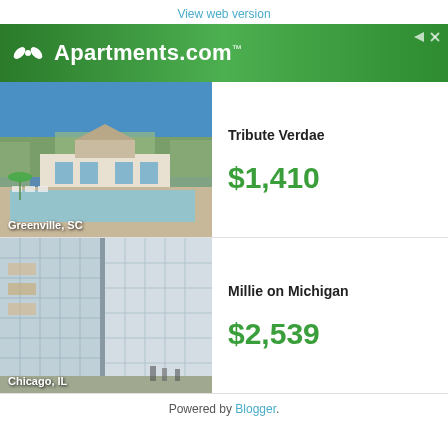View web version
[Figure (logo): Apartments.com green banner logo with white leaf/pinwheel icon and white text 'Apartments.com']
[Figure (photo): Outdoor pool and clubhouse at Tribute Verdae apartment community, Greenville, SC. Trees visible in background under blue sky.]
Tribute Verdae
$1,410
[Figure (photo): Modern glass and steel apartment building exterior at Millie on Michigan, Chicago, IL. Pedestrians visible at street level.]
Millie on Michigan
$2,539
Powered by Blogger.